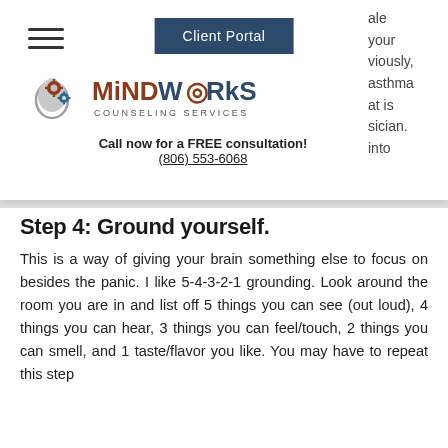[Figure (logo): MiND WORkS Counseling Services logo with gear/brain icon]
Call now for a FREE consultation!
(806) 553-6068
Step 4: Ground yourself.
This is a way of giving your brain something else to focus on besides the panic. I like 5-4-3-2-1 grounding. Look around the room you are in and list off 5 things you can see (out loud), 4 things you can hear, 3 things you can feel/touch, 2 things you can smell, and 1 taste/flavor you like. You may have to repeat this step